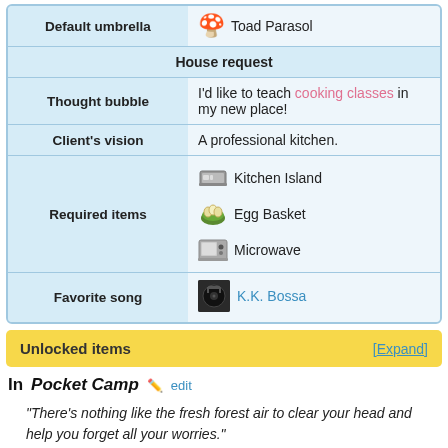| Field | Value |
| --- | --- |
| Default umbrella | 🍄 Toad Parasol |
| House request |  |
| Thought bubble | I'd like to teach cooking classes in my new place! |
| Client's vision | A professional kitchen. |
| Required items | Kitchen Island / Egg Basket / Microwave |
| Favorite song | K.K. Bossa |
Unlocked items [Expand]
In Pocket Camp
"There's nothing like the fresh forest air to clear your head and help you forget all your worries."
— A message from Ava, Animal Crossing: Pocket Camp